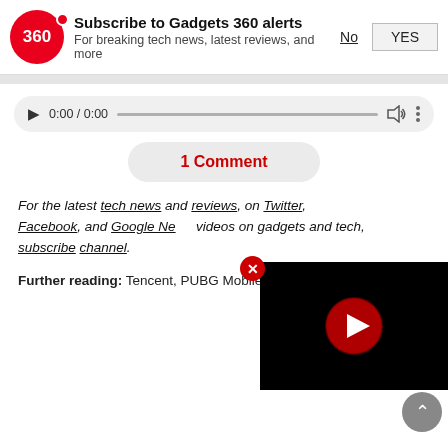[Figure (screenshot): Gadgets 360 subscription notification banner with red circular logo showing '360', title 'Subscribe to Gadgets 360 alerts', subtitle 'For breaking tech news, latest reviews, and more', with 'No' and 'YES' buttons]
[Figure (screenshot): Audio player bar with play button, time 0:00 / 0:00, progress bar, volume icon and more options icon on grey rounded background]
1 Comment
For the latest tech news and reviews, on Twitter, Facebook, and Google News, videos on gadgets and tech, subscribe to our channel.
Further reading: Tencent, PUBG Mobile, PUBG ban
[Figure (screenshot): Floating video player overlay with black background and red YouTube play button in center, with close (X) button in red circle top-left, and back-to-top grey circle button at bottom right]